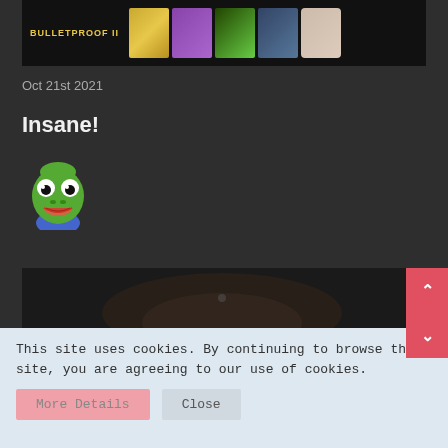[Figure (screenshot): Dark banner with BULLETPROOF II text and thumbnail images of performers]
Oct 21st 2021
Insane!
[Figure (illustration): Pepe the Frog emoji/sticker icon]
[Figure (photo): Dark close-up photo, partially visible]
This site uses cookies. By continuing to browse this site, you are agreeing to our use of cookies.
More Details   Close